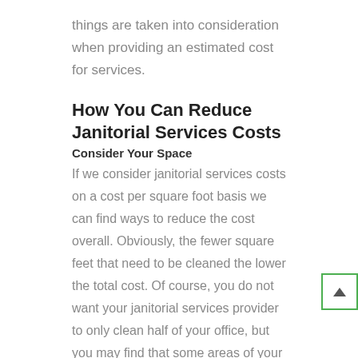things are taken into consideration when providing an estimated cost for services.
How You Can Reduce Janitorial Services Costs
Consider Your Space
If we consider janitorial services costs on a cost per square foot basis we can find ways to reduce the cost overall. Obviously, the fewer square feet that need to be cleaned the lower the total cost. Of course, you do not want your janitorial services provider to only clean half of your office, but you may find that some areas of your facility require less frequent cleaning. Perhaps your 10,000 sq/ft facility